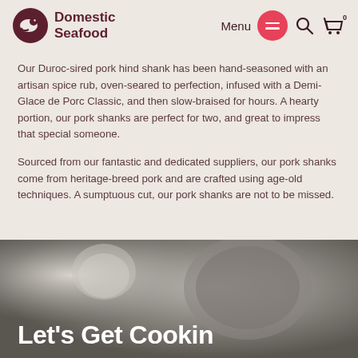Domestic Seafood — Menu navigation header with logo, menu button, search, and cart
Our Duroc-sired pork hind shank has been hand-seasoned with an artisan spice rub, oven-seared to perfection, infused with a Demi-Glace de Porc Classic, and then slow-braised for hours. A hearty portion, our pork shanks are perfect for two, and great to impress that special someone.
Sourced from our fantastic and dedicated suppliers, our pork shanks come from heritage-breed pork and are crafted using age-old techniques. A sumptuous cut, our pork shanks are not to be missed.
[Figure (photo): Food photo showing a bowl with salad/seafood dish and a green drink, with overlay text 'Let's Get Cookin']